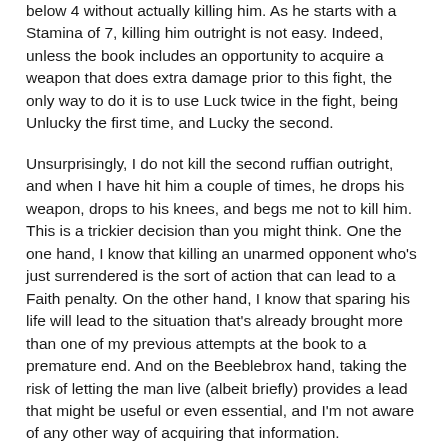below 4 without actually killing him. As he starts with a Stamina of 7, killing him outright is not easy. Indeed, unless the book includes an opportunity to acquire a weapon that does extra damage prior to this fight, the only way to do it is to use Luck twice in the fight, being Unlucky the first time, and Lucky the second.
Unsurprisingly, I do not kill the second ruffian outright, and when I have hit him a couple of times, he drops his weapon, drops to his knees, and begs me not to kill him. This is a trickier decision than you might think. One the one hand, I know that killing an unarmed opponent who's just surrendered is the sort of action that can lead to a Faith penalty. On the other hand, I know that sparing his life will lead to the situation that's already brought more than one of my previous attempts at the book to a premature end. And on the Beeblebrox hand, taking the risk of letting the man live (albeit briefly) provides a lead that might be useful or even essential, and I'm not aware of any other way of acquiring that information.
I don't kill the grovelling thug. He tells me that a huge brute